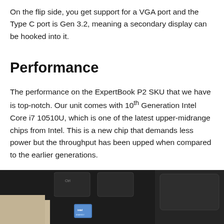On the flip side, you get support for a VGA port and the Type C port is Gen 3.2, meaning a secondary display can be hooked into it.
Performance
The performance on the ExpertBook P2 SKU that we have is top-notch. Our unit comes with 10th Generation Intel Core i7 10510U, which is one of the latest upper-midrange chips from Intel. This is a new chip that demands less power but the throughput has been upped when compared to the earlier generations.
[Figure (photo): Close-up photo of a laptop keyboard and trackpad area, showing dark keys including a Ctrl key and an Intel Energy Star sticker visible at the bottom.]